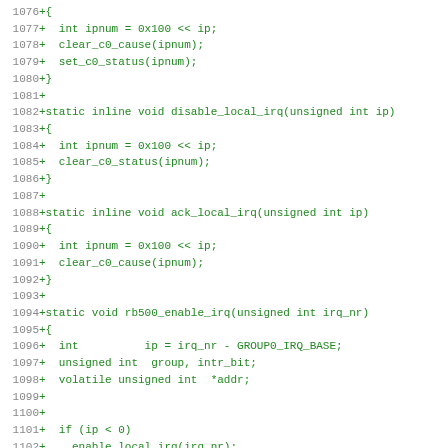[Figure (other): Source code diff showing C functions: enable_local_irq, disable_local_irq, ack_local_irq, and rb500_enable_irq, with line numbers 1076-1107]